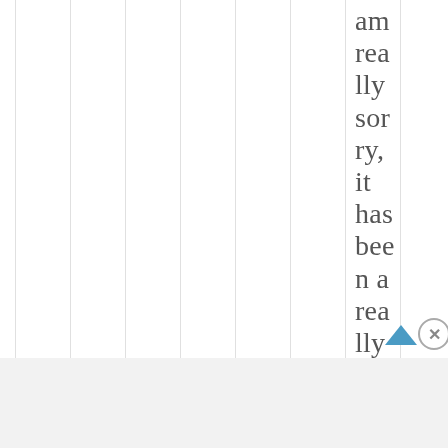am really sorry, it has been a really busy week
Advertisements
[Figure (other): DuckDuckGo advertisement banner: 'Search, browse, and email with more privacy. All in One Free App' with DuckDuckGo logo on dark background]